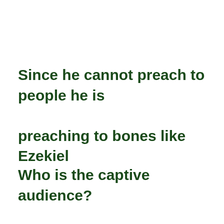Since he cannot preach to people he is preaching to bones like Ezekiel
Who is the captive audience?